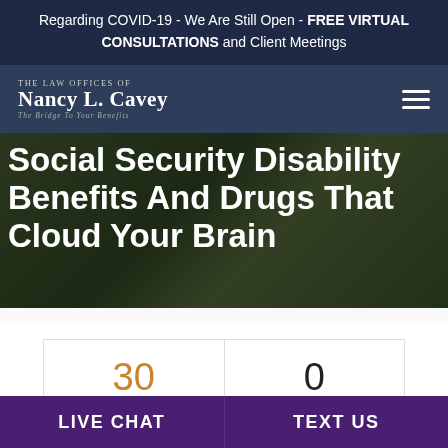Regarding COVID-19 - We Are Still Open - FREE VIRTUAL CONSULTATIONS and Client Meetings
[Figure (logo): The Law Offices of Nancy L. Cavey - The Bridge To Your Benefits logo with hamburger menu icon]
[Figure (photo): Background photo of wheelchair wheel with dark overlay and white bold title text reading: Social Security Disability Benefits And Drugs That Cloud Your Brain]
Social Security Disability Benefits And Drugs That Cloud Your Brain
| 30 | 0 |
| April | Comments |
LIVE CHAT
TEXT US